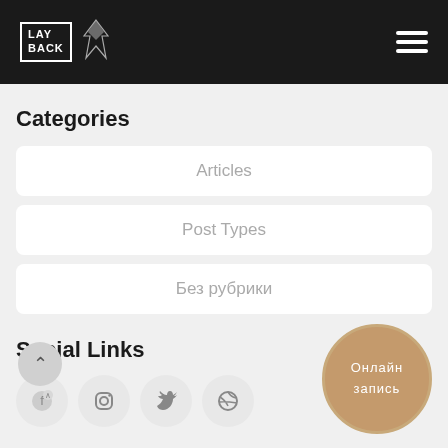LAY BACK
Categories
Articles
Post Types
Без рубрики
Social Links
[Figure (other): Social media icons: Facebook, Instagram, Twitter, Dribbble]
Онлайн запись